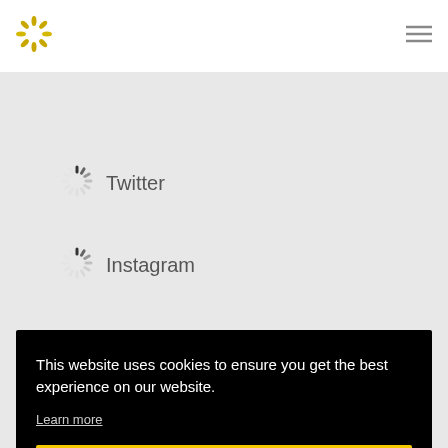[Figure (logo): Golden flower/snowflake logo in top left corner]
[Figure (other): Hamburger menu icon (three horizontal lines) in top right corner]
[Figure (other): Loading spinner icon next to Twitter label]
Twitter
[Figure (other): Loading spinner icon next to Instagram label]
Instagram
This website uses cookies to ensure you get the best experience on our website.
Learn more
Got it!